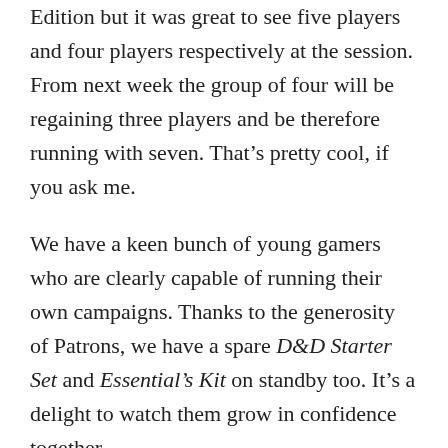Edition but it was great to see five players and four players respectively at the session. From next week the group of four will be regaining three players and be therefore running with seven. That’s pretty cool, if you ask me.
We have a keen bunch of young gamers who are clearly capable of running their own campaigns. Thanks to the generosity of Patrons, we have a spare D&D Starter Set and Essential’s Kit on standby too. It’s a delight to watch them grow in confidence together.
Game on!